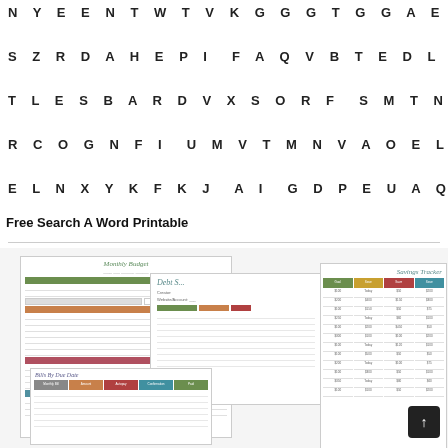[Figure (other): Word search puzzle grid showing rows of capital letters: N Y E E N T W T V K G G G T G G A E G G / S Z R D A H E P I F A Q V B T E D L A K / T L E S B A R D V X S O R F S M T N L C / R C O G N F I U M V T M N V A O E L P I / E L N X Y K F K J A I G D P E U A Q S R / E M I D L F R Z W Q N A D G B N P Q J C / T K C X Y M L I C H J S E T C T A M L U / U I B G D M D R X T B J I B P A R Y E S / S M A G I C K I N G D O M O L I T S Y X / A V P E D A R A P Q G T W Y N N Y L T C]
Free Search A Word Printable
[Figure (infographic): Thumbnail preview showing multiple printable budget/finance sheets: Monthly Budget sheet with colored header rows (green, orange, red, teal), Debt Snowball tracker overlay, Savings Tracker with four colored columns, Bills By Due Date sheet with colored headers, and a partially visible Savings Goal sheet. A dark scroll-to-top button is visible in the bottom right.]